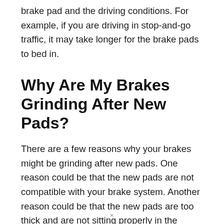brake pad and the driving conditions. For example, if you are driving in stop-and-go traffic, it may take longer for the brake pads to bed in.
Why Are My Brakes Grinding After New Pads?
There are a few reasons why your brakes might be grinding after new pads. One reason could be that the new pads are not compatible with your brake system. Another reason could be that the new pads are too thick and are not sitting properly in the caliper. Finally, the new pads could be glazed, which means they are not making proper contact